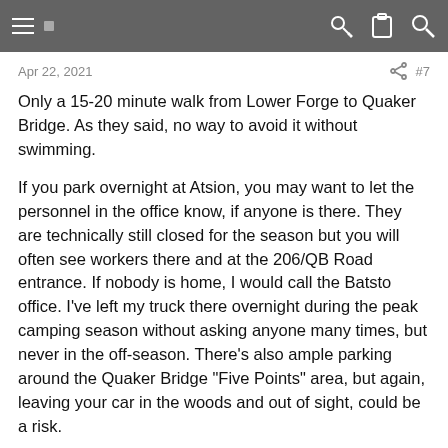Navigation bar with menu, key, clipboard, and search icons
Apr 22, 2021   #7
Only a 15-20 minute walk from Lower Forge to Quaker Bridge. As they said, no way to avoid it without swimming.

If you park overnight at Atsion, you may want to let the personnel in the office know, if anyone is there. They are technically still closed for the season but you will often see workers there and at the 206/QB Road entrance. If nobody is home, I would call the Batsto office. I've left my truck there overnight during the peak camping season without asking anyone many times, but never in the off-season. There's also ample parking around the Quaker Bridge "Five Points" area, but again, leaving your car in the woods and out of sight, could be a risk.
The Wick
Explorer